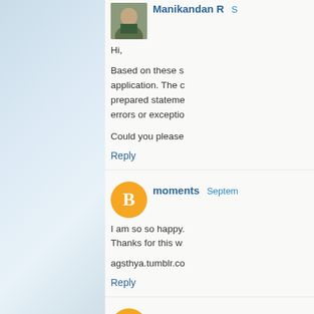[Figure (photo): Profile photo of Manikandan R, a young man]
Manikandan R S
Hi,

Based on these s... application. The c... prepared stateme... errors or exceptio...

Could you please...
Reply
[Figure (logo): Blogger orange circle avatar icon for user moments]
moments Septem...
I am so so happy... Thanks for this w...

agsthya.tumblr.co...
Reply
[Figure (logo): Blogger orange circle avatar icon for user suman]
suman Septemb...
Hi,